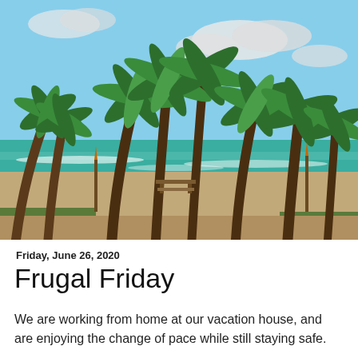[Figure (photo): Beach scene with tall palm trees in the foreground, sandy shore, turquoise ocean waves, and a wooden bench visible in the center background. Sky is blue with white clouds.]
Friday, June 26, 2020
Frugal Friday
We are working from home at our vacation house, and are enjoying the change of pace while still staying safe.